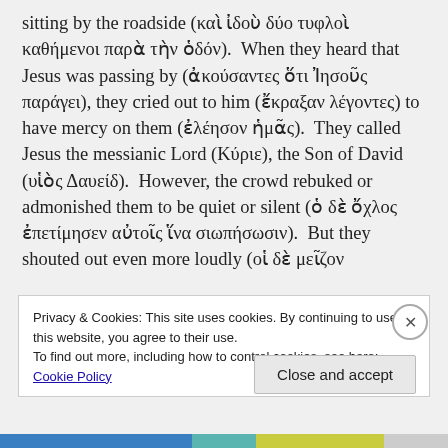sitting by the roadside (καὶ ἰδοὺ δύο τυφλοὶ καθήμενοι παρὰ τὴν ὁδόν).  When they heard that Jesus was passing by (ἀκούσαντες ὅτι Ἰησοῦς παράγει), they cried out to him (ἔκραξαν λέγοντες) to have mercy on them (ἐλέησον ἡμᾶς).  They called Jesus the messianic Lord (Κύριε), the Son of David (υἱὸς Δαυείδ).  However, the crowd rebuked or admonished them to be quiet or silent (ὁ δὲ ὄχλος ἐπετίμησεν αὐτοῖς ἵνα σιωπήσωσιν).  But they shouted out even more loudly (οἱ δὲ μεῖζον
Privacy & Cookies: This site uses cookies. By continuing to use this website, you agree to their use.
To find out more, including how to control cookies, see here: Cookie Policy